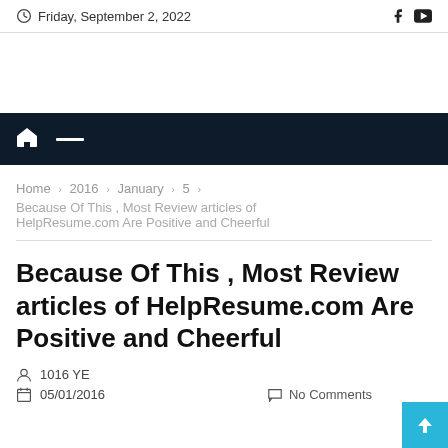Friday, September 2, 2022
Home > 2016 > January > 5 > Because Of This , Most Review articles of HelpResume.com Are Positive and Cheerful
Because Of This , Most Review articles of HelpResume.com Are Positive and Cheerful
1016 YE
05/01/2016
No Comments